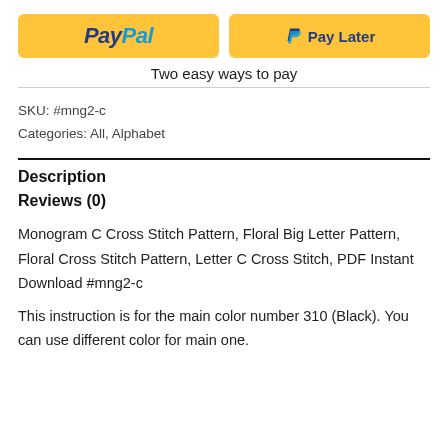[Figure (other): Two PayPal payment buttons side by side: 'PayPal' button and 'P Pay Later' button, both with yellow/gold background]
Two easy ways to pay
SKU: #mng2-c
Categories: All, Alphabet
Description
Reviews (0)
Monogram C Cross Stitch Pattern, Floral Big Letter Pattern, Floral Cross Stitch Pattern, Letter C Cross Stitch, PDF Instant Download #mng2-c
This instruction is for the main color number 310 (Black). You can use different color for main one.